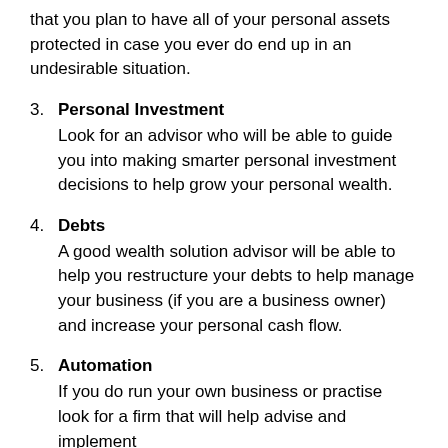that you plan to have all of your personal assets protected in case you ever do end up in an undesirable situation.
3. Personal Investment
Look for an advisor who will be able to guide you into making smarter personal investment decisions to help grow your personal wealth.
4. Debts
A good wealth solution advisor will be able to help you restructure your debts to help manage your business (if you are a business owner) and increase your personal cash flow.
5. Automation
If you do run your own business or practise look for a firm that will help advise and implement